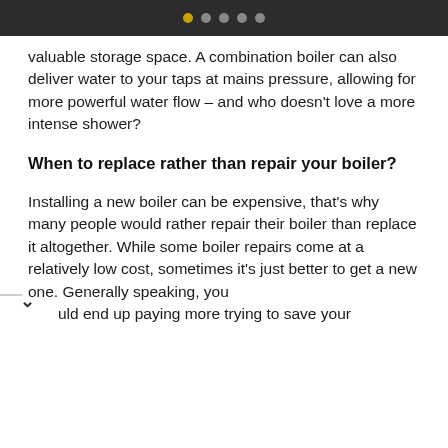● ● ● ● ●
valuable storage space. A combination boiler can also deliver water to your taps at mains pressure, allowing for more powerful water flow – and who doesn't love a more intense shower?
When to replace rather than repair your boiler?
Installing a new boiler can be expensive, that's why many people would rather repair their boiler than replace it altogether. While some boiler repairs come at a relatively low cost, sometimes it's just better to get a new one. Generally speaking, you uld end up paying more trying to save your